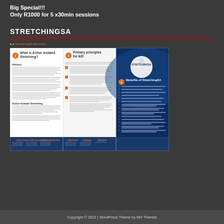Big Special!!!
Only R1000 for 5 x30min sessions
STRETCHINGSA
[Figure (illustration): A tri-fold brochure for StretchingSA showing sections about Active Isolated Stretching, Primary principles for AIS, and Benefits of StretchingSA with company contact details at the bottom.]
Copyright © 2022 | WordPress Theme by MH Themes